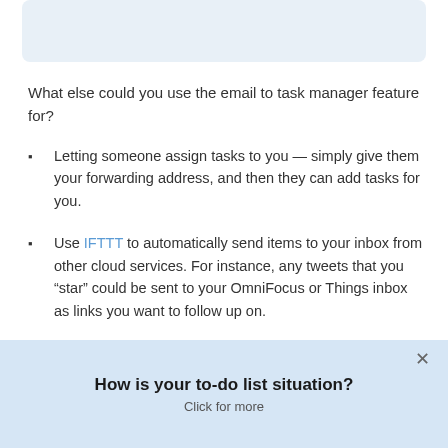[Figure (other): Light blue rounded rectangle box at top of page]
What else could you use the email to task manager feature for?
Letting someone assign tasks to you — simply give them your forwarding address, and then they can add tasks for you.
Use IFTTT to automatically send items to your inbox from other cloud services. For instance, any tweets that you “star” could be sent to your OmniFocus or Things inbox as links you want to follow up on.
Send tasks from a Windows PC to your inbox for apps
How is your to-do list situation?
Click for more